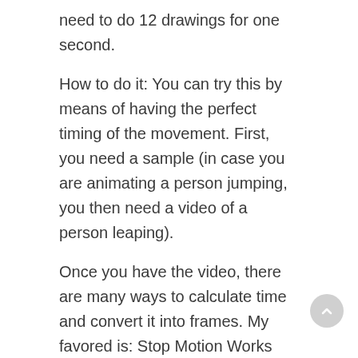need to do 12 drawings for one second.
How to do it: You can try this by means of having the perfect timing of the movement. First, you need a sample (in case you are animating a person jumping, you then need a video of a person leaping).
Once you have the video, there are many ways to calculate time and convert it into frames. My favored is: Stop Motion Works Stopwatch (hyperlink at the quit of this article). In my instance it will be a eight frame jump.
What you do is: You draw the key frames of the skeleton of your better anime man or woman, after which, you continue by means of drawing